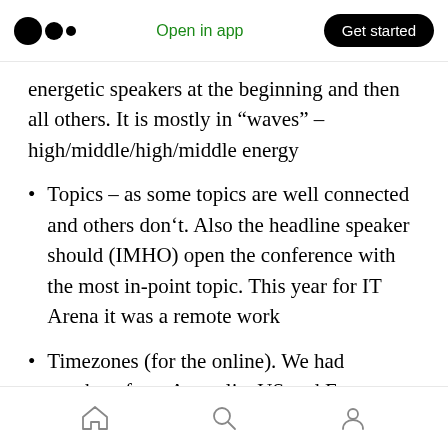Open in app | Get started
energetic speakers at the beginning and then all others. It is mostly in “waves” – high/middle/high/middle energy
Topics – as some topics are well connected and others don’t. Also the headline speaker should (IMHO) open the conference with the most in-point topic. This year for IT Arena it was a remote work
Timezones (for the online). We had speakers from Australia, US and Europe. Those are totally different timezones and you need to
Home | Search | Profile